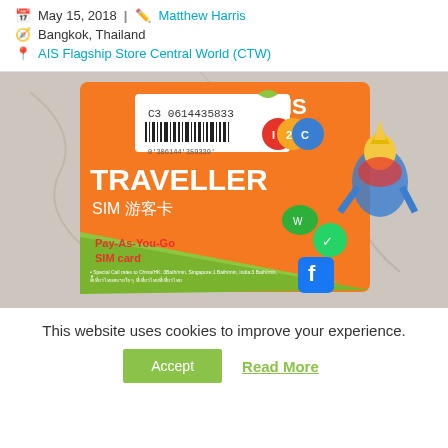May 15, 2018 | Matthew Harris
Bangkok, Thailand
AIS Flagship Store Central World (CTW)
[Figure (photo): Photo of an AIS Traveller SIM card (游客卡), a Pay-As-You-Go SIM card with barcode C3 0614435833, featuring Thai mythological figure and app icons (WeChat, WhatsApp, Facebook). Orange and green packaging against a marble background.]
This website uses cookies to improve your experience.
Accept
Read More